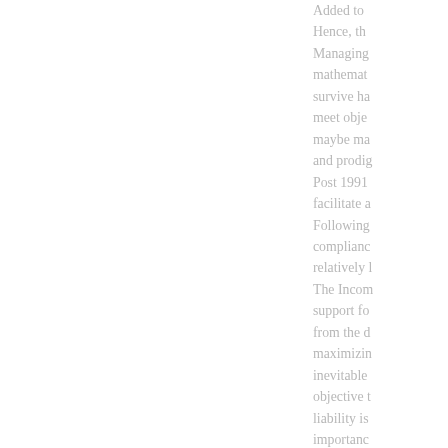Added to... Hence, th... Managing... mathemat... survive ha... meet obje... maybe ma... and prodig... Post 1991... facilitate a... Following... complianc... relatively l... The Incom... support fo... from the d... maximizin... inevitable... objective t... liability is... importanc... Thus, fina... interest lia...